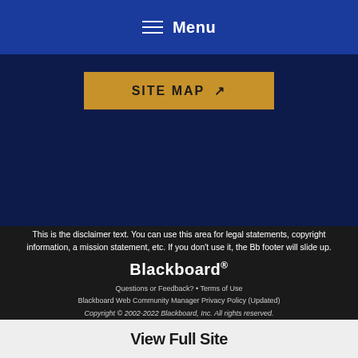Menu
SITE MAP ↗
This is the disclaimer text. You can use this area for legal statements, copyright information, a mission statement, etc. If you don't use it, the Bb footer will slide up.
Blackboard®
Questions or Feedback? • Terms of Use
Blackboard Web Community Manager Privacy Policy (Updated)
Copyright © 2002-2022 Blackboard, Inc. All rights reserved.
View Full Site